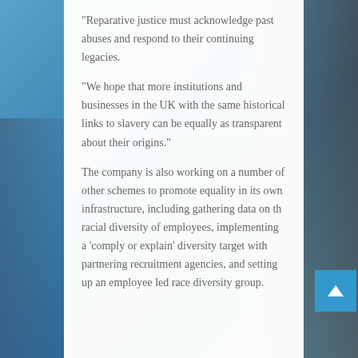“Reparative justice must acknowledge past abuses and respond to their continuing legacies.
“We hope that more institutions and businesses in the UK with the same historical links to slavery can be equally as transparent about their origins.”
The company is also working on a number of other schemes to promote equality in its own infrastructure, including gathering data on the racial diversity of employees, implementing a ‘comply or explain’ diversity target with partnering recruitment agencies, and setting up an employee led race diversity group.